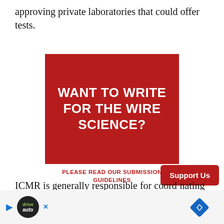approving private laboratories that could offer tests.
[Figure (illustration): Dark red banner reading 'WANT TO WRITE FOR THE WIRE SCIENCE?' in large white bold uppercase text]
PLEASE READ OUR SUBMISSION GUIDELINES
ICMR is generally responsible for coordinating and promoting biomedical research in India, and had no experience with approving testing labs. So instead
[Figure (other): Support Us button overlay (red rounded rectangle)]
[Figure (other): Ad overlay at bottom with play button, auto logo circle, X icon, and navigation diamond icon]